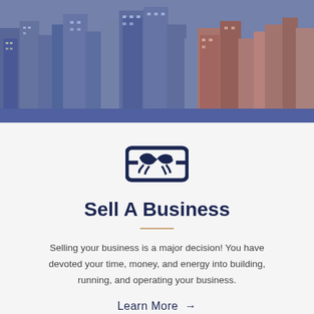[Figure (photo): Aerial city skyline photo with tall buildings and blue/purple tint]
[Figure (illustration): Handshake icon inside a rectangular frame, dark navy blue]
Sell A Business
Selling your business is a major decision! You have devoted your time, money, and energy into building, running, and operating your business.
Learn More →